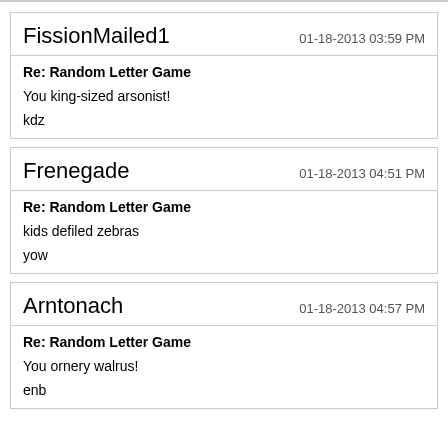FissionMailed1 — 01-18-2013 03:59 PM
Re: Random Letter Game
You king-sized arsonist!
kdz
Frenegade — 01-18-2013 04:51 PM
Re: Random Letter Game
kids defiled zebras
yow
Arntonach — 01-18-2013 04:57 PM
Re: Random Letter Game
You ornery walrus!
enb